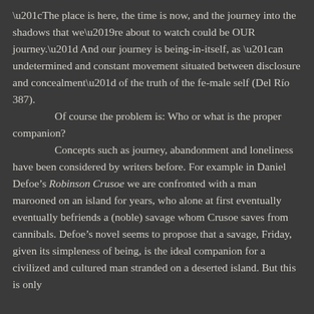“The place is here, the time is now, and the journey into the shadows that we’re about to watch could be OUR journey.” And our journey is being-in-itself, as “an undetermined and constant movement situated between disclosure and concealment” of the truth of the fe-male self (Del Río 387).

Of course the problem is: Who or what is the proper companion?

Concepts such as journey, abandonment and loneliness have been considered by writers before. For example in Daniel Defoe’s Robinson Crusoe we are confronted with a man marooned on an island for years, who alone at first eventually  eventually befriends a (noble) savage whom Crusoe saves from cannibals. Defoe’s novel seems to propose that a savage, Friday, given its simpleness of being, is the ideal companion for a civilized and cultured man stranded on a deserted island. But this is only